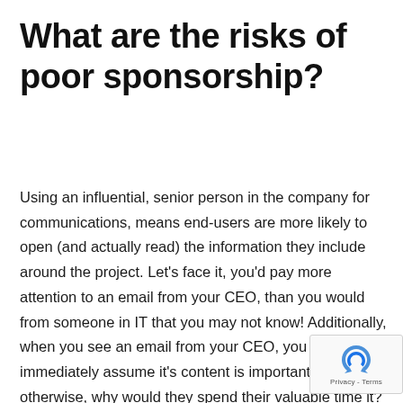What are the risks of poor sponsorship?
Using an influential, senior person in the company for communications, means end-users are more likely to open (and actually read) the information they include around the project. Let's face it, you'd pay more attention to an email from your CEO, than you would from someone in IT that you may not know! Additionally, when you see an email from your CEO, you immediately assume it's content is important – otherwise, why would they spend their valuable time it?
[Figure (logo): reCAPTCHA badge with blue circular arrows icon and Privacy - Terms text]